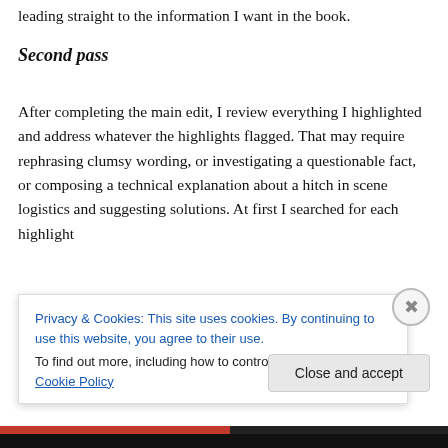leading straight to the information I want in the book.
Second pass
After completing the main edit, I review everything I highlighted and address whatever the highlights flagged. That may require rephrasing clumsy wording, or investigating a questionable fact, or composing a technical explanation about a hitch in scene logistics and suggesting solutions. At first I searched for each highlight by scrolling; then I tried opening the Find/Replace window
Privacy & Cookies: This site uses cookies. By continuing to use this website, you agree to their use.
To find out more, including how to control cookies, see here: Cookie Policy